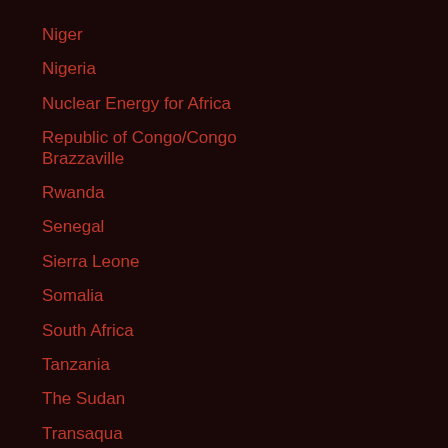Niger
Nigeria
Nuclear Energy for Africa
Republic of Congo/Congo Brazzaville
Rwanda
Senegal
Sierra Leone
Somalia
South Africa
Tanzania
The Sudan
Transaqua
Uganda
Uncategorised